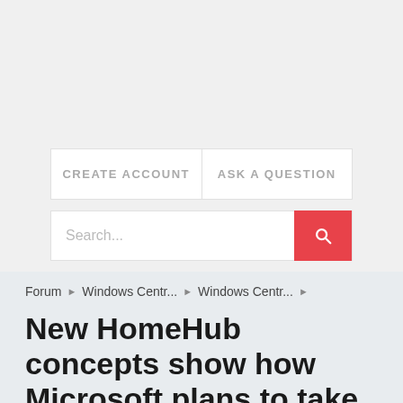CREATE ACCOUNT | ASK A QUESTION
Search...
Forum ▶ Windows Centr... ▶ Windows Centr... ▶
New HomeHub concepts show how Microsoft plans to take on Amazon Echo